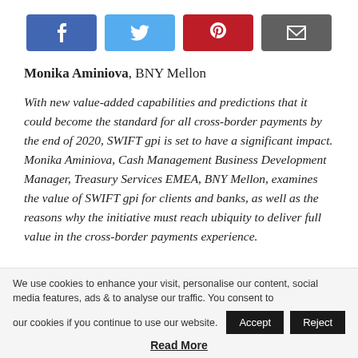[Figure (other): Social share buttons: Facebook (blue), Twitter (light blue), Pinterest (red/dark red), Email (dark grey)]
Monika Aminiova, BNY Mellon
With new value-added capabilities and predictions that it could become the standard for all cross-border payments by the end of 2020, SWIFT gpi is set to have a significant impact. Monika Aminiova, Cash Management Business Development Manager, Treasury Services EMEA, BNY Mellon, examines the value of SWIFT gpi for clients and banks, as well as the reasons why the initiative must reach ubiquity to deliver full value in the cross-border payments experience.
We use cookies to enhance your visit, personalise our content, social media features, ads & to analyse our traffic. You consent to our cookies if you continue to use our website.
Read More